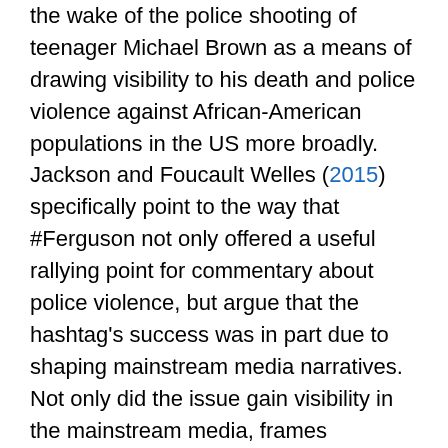the wake of the police shooting of teenager Michael Brown as a means of drawing visibility to his death and police violence against African-American populations in the US more broadly. Jackson and Foucault Welles (2015) specifically point to the way that #Ferguson not only offered a useful rallying point for commentary about police violence, but argue that the hashtag's success was in part due to shaping mainstream media narratives. Not only did the issue gain visibility in the mainstream media, frames established by #Ferguson set the tone of the narrative. Indeed, 'early initiators' in the discourse, including 'African-Americans, women, and young people, including several members of Michael Brown's working-class, [and] African-American community, were particularly influential and succeeded in defining the terms of debate despite their historical exclusion from the American public sphere' (Jackson and Foucault Welles, 2015: 412).
Broadly speaking, therefore, hashtags have been seen as an affectively significant component of socio-technical assemblages through which race is enacted online